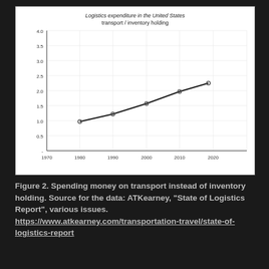[Figure (line-chart): Logistics expenditure in the United States transport / inventory holding]
Figure 2. Spending money on transport instead of inventory holding. Source for the data: ATKearney, "State of Logistics Report", various issues. https://www.atkearney.com/transportation-travel/state-of-logistics-report